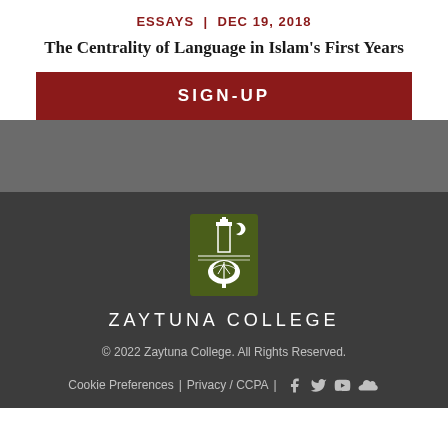ESSAYS  |  DEC 19, 2018
The Centrality of Language in Islam’s First Years
SIGN-UP
[Figure (logo): Zaytuna College logo: olive green rectangular badge with a minaret, crescent moon, and tree in white]
ZAYTUNA COLLEGE
© 2022 Zaytuna College. All Rights Reserved.
Cookie Preferences  |  Privacy / CCPA  |  [Facebook] [Twitter] [YouTube] [SoundCloud]